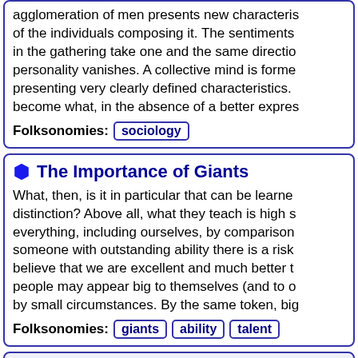agglomeration of men presents new characteristics of the individuals composing it. The sentiments in the gathering take one and the same direction, personality vanishes. A collective mind is formed presenting very clearly defined characteristics. become what, in the absence of a better expression
Folksonomies: sociology
The Importance of Giants
What, then, is it in particular that can be learned distinction? Above all, what they teach is high s everything, including ourselves, by comparison someone with outstanding ability there is a risk believe that we are excellent and much better t people may appear big to themselves (and to o by small circumstances. By the same token, big
Folksonomies: giants ability talent